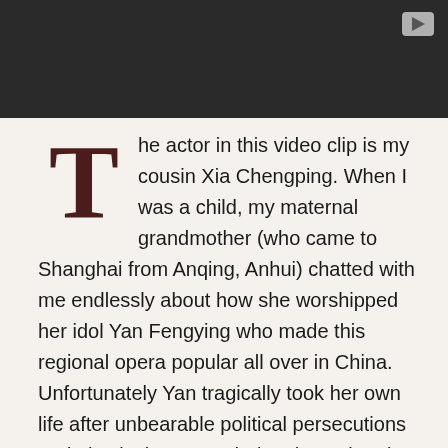[Figure (screenshot): Dark video player bar with a play button icon in the upper right corner]
The actor in this video clip is my cousin Xia Chengping. When I was a child, my maternal grandmother (who came to Shanghai from Anqing, Anhui) chatted with me endlessly about how she worshipped her idol Yan Fengying who made this regional opera popular all over in China. Unfortunately Yan tragically took her own life after unbearable political persecutions and physical tortures during the Cultural Revolution.  My sweet memory is that my grandmother often sat on a small bamboo chair in the corridor shared by the two families on Fenyang Road in Shanghai. The simple, smooth, and soft Huangmei opera tunes were played on the small radio. The grandmother